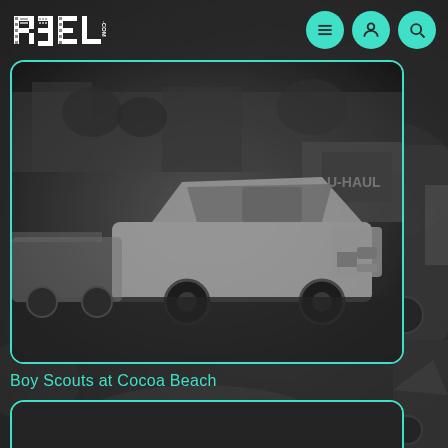[Figure (logo): R3EL.COM logo in white blocky/pixel font with teal navigation icons (hamburger menu, user profile, search) on dark background]
[Figure (photo): Black and white photograph of vintage cars (appears to be a station wagon or sedan) parked in a lot, with U-Haul truck visible in background, enclosed in a teal-bordered rounded rectangle card]
Boy Scouts at Cocoa Beach
[Figure (photo): Partial black and white photograph visible at bottom of page, showing a dark grainy outdoor scene, enclosed in a teal-bordered rounded rectangle card]